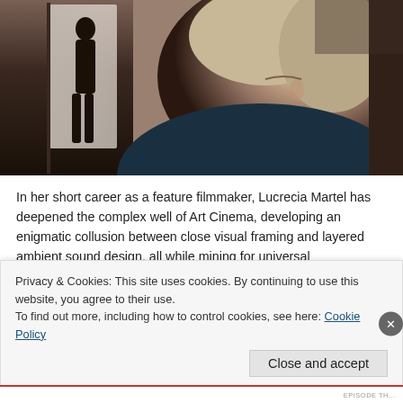[Figure (photo): A film still showing a woman with short blonde-grey hair in profile/three-quarter view looking downward, wearing a dark teal sweater. In the background left, a dark silhouette of a person stands near a window with bright light.]
In her short career as a feature filmmaker, Lucrecia Martel has deepened the complex well of Art Cinema, developing an enigmatic collusion between close visual framing and layered ambient sound design, all while mining for universal contradictions and local tragedies within Argentina's widening class divide. With The Headless Woman, her latest and most harrowing film, Martel finally transcends the minor failures of La Cienaga and The Holy
Privacy & Cookies: This site uses cookies. By continuing to use this website, you agree to their use.
To find out more, including how to control cookies, see here: Cookie Policy
Close and accept